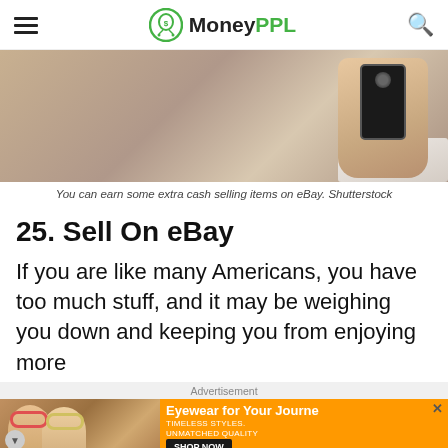MoneyPPL
[Figure (photo): Person holding a smartphone near a laptop and tablet]
You can earn some extra cash selling items on eBay. Shutterstock
25. Sell On eBay
If you are like many Americans, you have too much stuff, and it may be weighing you down and keeping you from enjoying more
[Figure (photo): Advertisement: Eyewear for Your Journey - women wearing sunglasses]